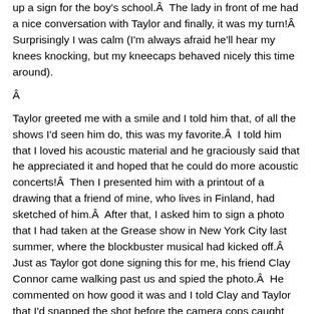up a sign for the boy's school.Â  The lady in front of me had a nice conversation with Taylor and finally, it was my turn!Â  Surprisingly I was calm (I'm always afraid he'll hear my knees knocking, but my kneecaps behaved nicely this time around).
Â
Taylor greeted me with a smile and I told him that, of all the shows I'd seen him do, this was my favorite.Â  I told him that I loved his acoustic material and he graciously said that he appreciated it and hoped that he could do more acoustic concerts!Â  Then I presented him with a printout of a drawing that a friend of mine, who lives in Finland, had sketched of him.Â  After that, I asked him to sign a photo that I had taken at the Grease show in New York City last summer, where the blockbuster musical had kicked off.Â  Just as Taylor got done signing this for me, his friend Clay Connor came walking past us and spied the photo.Â  He commented on how good it was and I told Clay and Taylor that I'd snapped the shot before the camera cops caught me!Â  They both laughed at that. Naturally, I wanted a picture with Taylor, so I handed my camera to the security guy to do the honors, and he took a great picture!Â  Since there were other people in line behind me, I told Taylor I'd see him in Canada for another appearance, and made my way back through the crowd.Â  It was an M&G I will never forget.Â  Taylor couldn't have been any nicer.Â  By the time I had emerged into